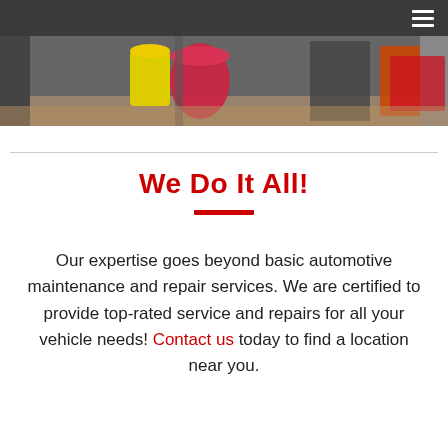[Figure (photo): Hero image of automotive repair shop interior with colorful equipment including yellow and red items visible]
We Do It All!
Our expertise goes beyond basic automotive maintenance and repair services. We are certified to provide top-rated service and repairs for all your vehicle needs! Contact us today to find a location near you.